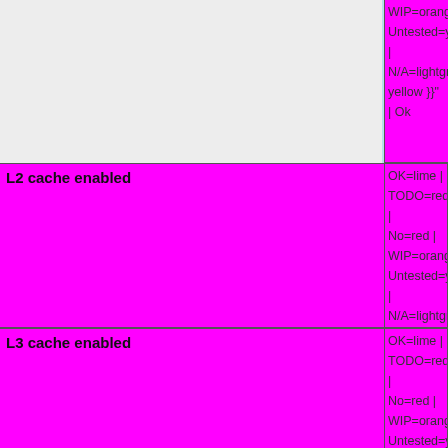| Feature | Status |
| --- | --- |
|  | WIP=orange | Untested=yellow | N/A=lightgrey yellow }}" | OK |
| L2 cache enabled | OK=lime | TODO=red | No=red | WIP=orange | Untested=yellow | N/A=lightgrey yellow }}" | OK |
| L3 cache enabled | OK=lime | TODO=red | No=red | WIP=orange | Untested=yellow | N/A=lightgrey yellow }}" | N/A |
| Multiple CPU support | OK=lime | TODO=red | No=red | WIP=orange | Untested=yel... |